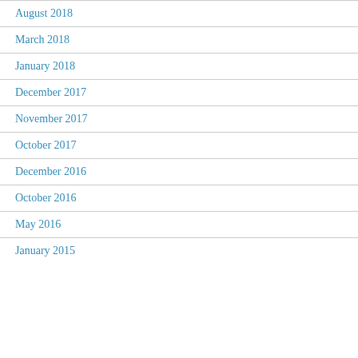August 2018
March 2018
January 2018
December 2017
November 2017
October 2017
December 2016
October 2016
May 2016
January 2015